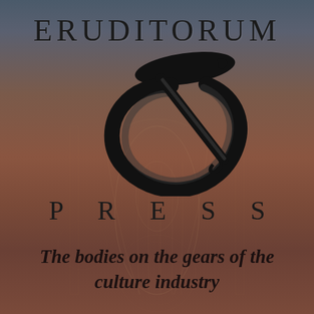ERUDITORUM
[Figure (logo): Eruditorum Press stylized 'EP' logo — a bold cursive circular swash forming a large 'E' or 'C' shape with a feather/pen stroke through it, rendered in black on a muted warm-toned background with faint baroque/renaissance figures visible behind it]
PRESS
The bodies on the gears of the culture industry